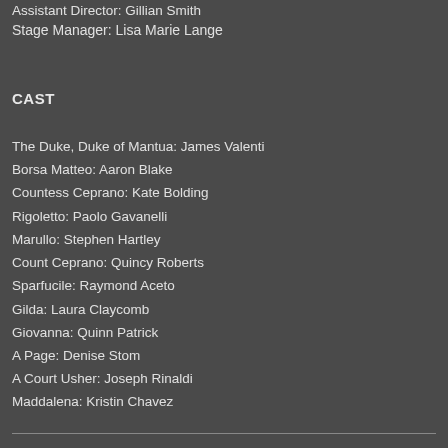Assistant Director: Gillian Smith
Stage Manager: Lisa Marie Lange
CAST
The Duke, Duke of Mantua: James Valenti
Borsa Matteo: Aaron Blake
Countess Ceprano: Kate Bolding
Rigoletto: Paolo Gavanelli
Marullo: Stephen Hartley
Count Ceprano: Quincy Roberts
Sparfucile: Raymond Aceto
Gilda: Laura Claycomb
Giovanna: Quinn Patrick
A Page: Denise Stom
A Court Usher: Joseph Rinaldi
Maddalena: Kristin Chavez